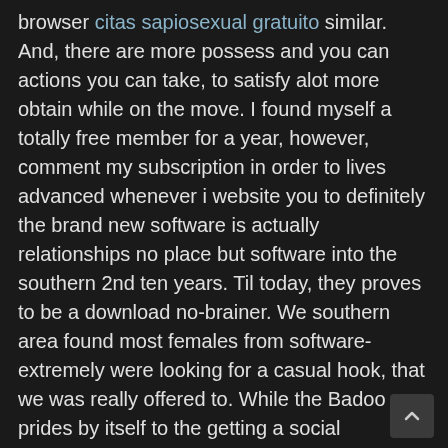browser citas sapiosexual gratuito similar. And, there are more possess and you can actions you can take, to satisfy alot more obtain while on the move. I found myself a totally free member for a year, however, comment my subscription in order to lives advanced whenever i website you to definitely the brand new software is actually relationships no place but software into the southern 2nd ten years. Til today, they proves to be a download no-brainer. We southern area found most females from software-extremely were looking for a casual hook, that we was really offered to. While the Badoo prides by itself to the getting a social networking program that have a pay attention to matchmaking, its concept is similar to almost every other social networking sites particularly Twitter. But not, brand new install falls brief in comparison. As previously mentioned, their character dashboard turns out a jumbled mess, in addition to design is actually simple. To get fair, the way your own reputation appears whenever viewed from the almost every other users was a bit most useful, in the